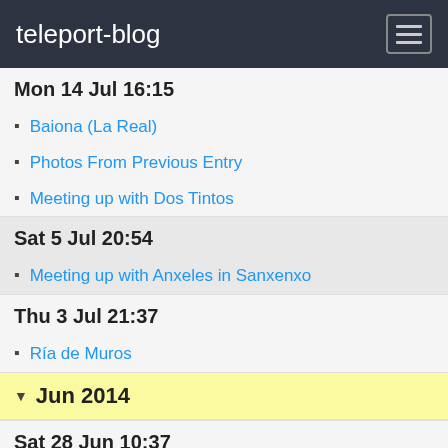teleport-blog
Mon 14 Jul 16:15
Baiona (La Real)
Photos From Previous Entry
Meeting up with Dos Tintos
Sat 5 Jul 20:54
Meeting up with Anxeles in Sanxenxo
Thu 3 Jul 21:37
Ría de Muros
Jun 2014
Sat 28 Jun 10:37
The End of the Earth
Fri 27 Jun 10:24
The Death Coast
Wed 25 Jun 17:38
Mutiny on Caramor
Sat 21 Jun 16:37